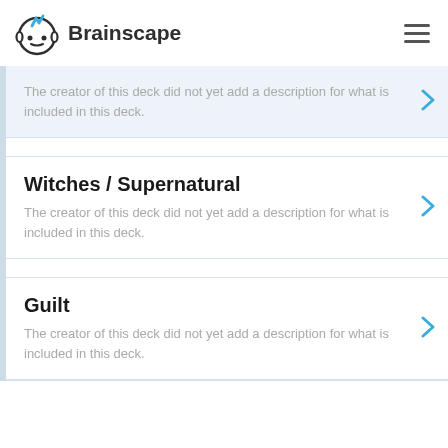Brainscape
The creator of this deck did not yet add a description for what is included in this deck.
Witches / Supernatural
The creator of this deck did not yet add a description for what is included in this deck.
Guilt
The creator of this deck did not yet add a description for what is included in this deck.